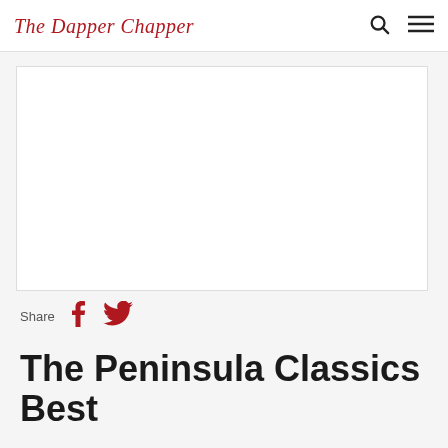The Dapper Chapper
[Figure (other): Advertisement or image placeholder box with white background and light gray border]
Share
The Peninsula Classics Best